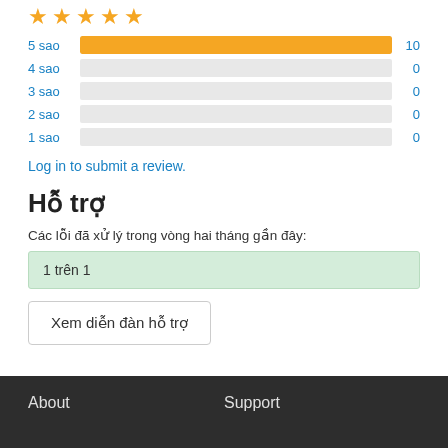[Figure (other): Five gold star icons indicating a 5-star rating]
[Figure (bar-chart): Star rating distribution]
Log in to submit a review.
Hỗ trợ
Các lỗi đã xử lý trong vòng hai tháng gần đây:
1 trên 1
Xem diễn đàn hỗ trợ
About    Support